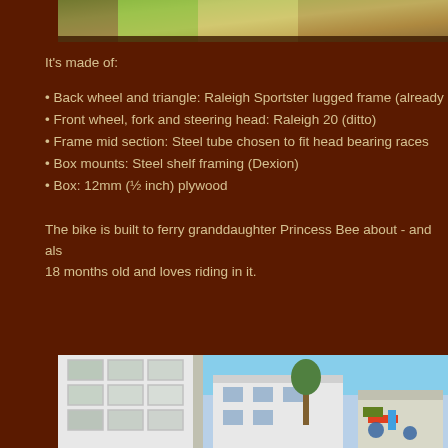[Figure (photo): Top partial photo showing a wooden surface with colorful items, cropped at top of page]
It's made of:
• Back wheel and triangle: Raleigh Sportster lugged frame (already b…
• Front wheel, fork and steering head: Raleigh 20 (ditto)
• Frame mid section: Steel tube chosen to fit head bearing races
• Box mounts: Steel shelf framing (Dexion)
• Box: 12mm (½ inch) plywood
The bike is built to ferry granddaughter Princess Bee about - and als… 18 months old and loves riding in it.
[Figure (photo): Bottom photo showing a bike or transport device in an outdoor/suburban setting with houses and a vehicle visible]